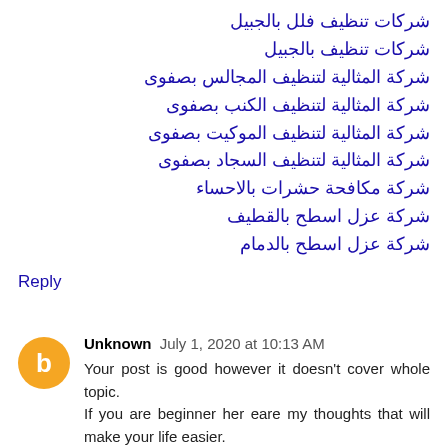شركات تنظيف فلل بالجبيل
شركات تنظيف بالجبيل
شركة المثالية لتنظيف المجالس بصفوى
شركة المثالية لتنظيف الكنب بصفوى
شركة المثالية لتنظيف الموكيت بصفوى
شركة المثالية لتنظيف السجاد بصفوى
شركة مكافحة حشرات بالاحساء
شركة عزل اسطح بالقطيف
شركة عزل اسطح بالدمام
Reply
Unknown  July 1, 2020 at 10:13 AM
Your post is good however it doesn't cover whole topic.
If you are beginner her eare my thoughts that will make your life easier.

When I was starting 3 years ago from literally 0 skill and it was harder tan you can expect. All over the web people were saying that I need only a pencil, paper, and time to start. Well, that's true however not for everybody. Some people like me need more help at the beginning. with just a pencil they quickly drop hobby